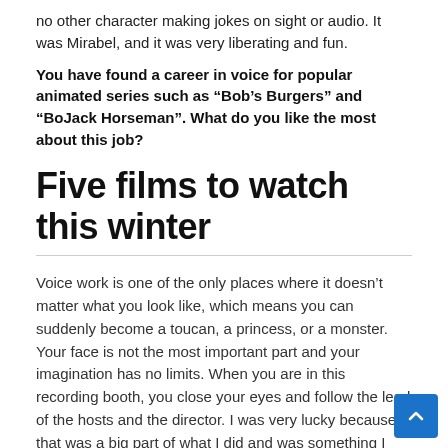no other character making jokes on sight or audio. It was Mirabel, and it was very liberating and fun.
You have found a career in voice for popular animated series such as “Bob’s Burgers” and “BoJack Horseman”. What do you like the most about this job?
Five films to watch this winter
Voice work is one of the only places where it doesn’t matter what you look like, which means you can suddenly become a toucan, a princess, or a monster. Your face is not the most important part and your imagination has no limits. When you are in this recording booth, you close your eyes and follow the lead of the hosts and the director. I was very lucky because that was a big part of what I did and was something I could continue to do for the past two years during this global pandemic.